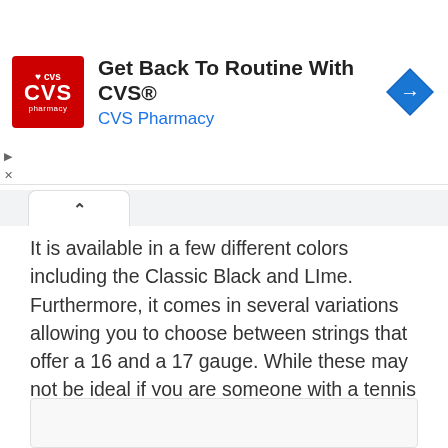[Figure (other): CVS Pharmacy advertisement banner with CVS logo, headline 'Get Back To Routine With CVS®', subtitle 'CVS Pharmacy', and a blue navigation arrow icon on the right.]
It is available in a few different colors including the Classic Black and LIme. Furthermore, it comes in several variations allowing you to choose between strings that offer a 16 and a 17 gauge. While these may not be ideal if you are someone with a tennis elbow or another tennis injury, you shouldn't have a lot of issues maintaining maximum tension while going for power shots with its heptagonal design.